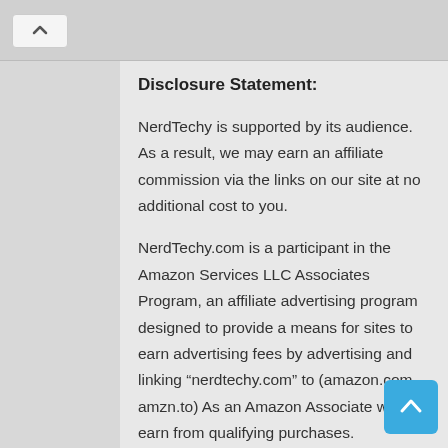Disclosure Statement:
NerdTechy is supported by its audience. As a result, we may earn an affiliate commission via the links on our site at no additional cost to you.
NerdTechy.com is a participant in the Amazon Services LLC Associates Program, an affiliate advertising program designed to provide a means for sites to earn advertising fees by advertising and linking “nerdtechy.com” to (amazon.com, amzn.to) As an Amazon Associate we earn from qualifying purchases.
Learn More...